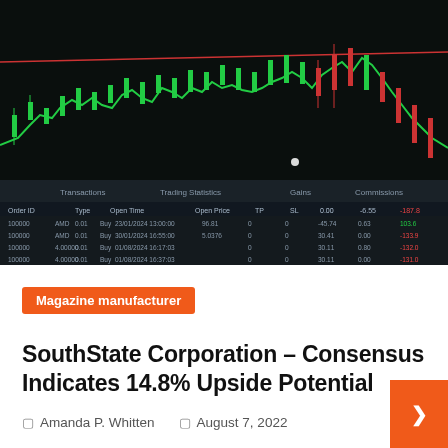[Figure (screenshot): Stock trading platform screenshot showing candlestick chart with green candles on dark background with a data table below showing trading transactions]
Magazine manufacturer
SouthState Corporation – Consensus Indicates 14.8% Upside Potential
Amanda P. Whitten   August 7, 2022